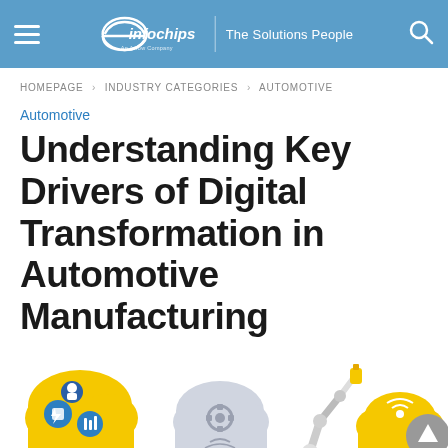eInfochips | The Solutions People
HOMEPAGE > INDUSTRY CATEGORIES > AUTOMOTIVE
Automotive
Understanding Key Drivers of Digital Transformation in Automotive Manufacturing
[Figure (illustration): Colorful illustration showing cloud icons with IoT/industry symbols, a robotic arm, and smart manufacturing imagery in yellow, blue, and grey tones]